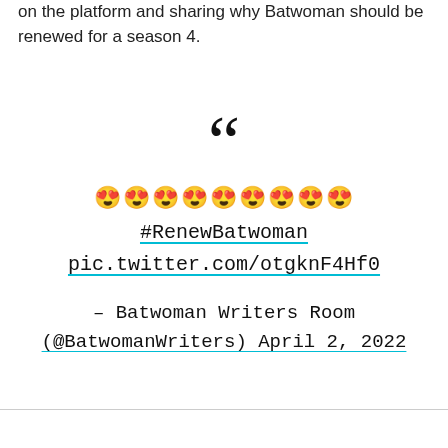on the platform and sharing why Batwoman should be renewed for a season 4.
[Figure (other): Large decorative opening quotation marks in black]
😍😍😍😍😍😍😍😍😍 #RenewBatwoman pic.twitter.com/otgknF4Hf0
– Batwoman Writers Room (@BatwomanWriters) April 2, 2022